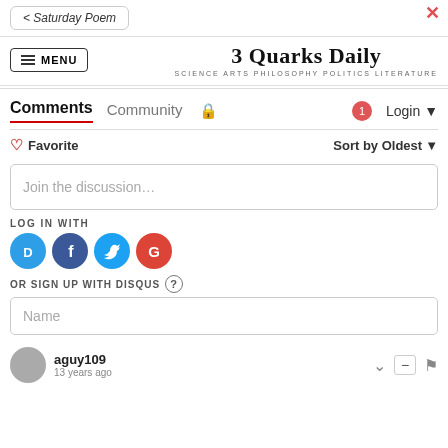< Saturday Poem
3 Quarks Daily
SCIENCE ARTS PHILOSOPHY POLITICS LITERATURE
Comments  Community  🔒  1  Login
♡ Favorite    Sort by Oldest
Join the discussion…
LOG IN WITH
[Figure (infographic): Four social login buttons: Disqus (blue circle with D), Facebook (dark blue circle with f), Twitter (light blue circle with bird), Google (red circle with G)]
OR SIGN UP WITH DISQUS ?
Name
aguy109
13 years ago